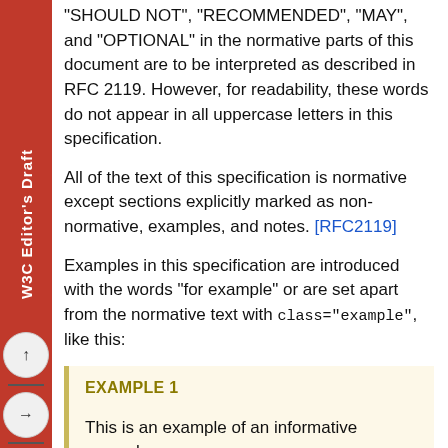"SHOULD NOT", "RECOMMENDED", "MAY", and "OPTIONAL" in the normative parts of this document are to be interpreted as described in RFC 2119. However, for readability, these words do not appear in all uppercase letters in this specification.
All of the text of this specification is normative except sections explicitly marked as non-normative, examples, and notes. [RFC2119]
Examples in this specification are introduced with the words "for example" or are set apart from the normative text with class="example", like this:
EXAMPLE 1
This is an example of an informative example.
Informative notes begin with the word “Note” and are set apart from the normative text with